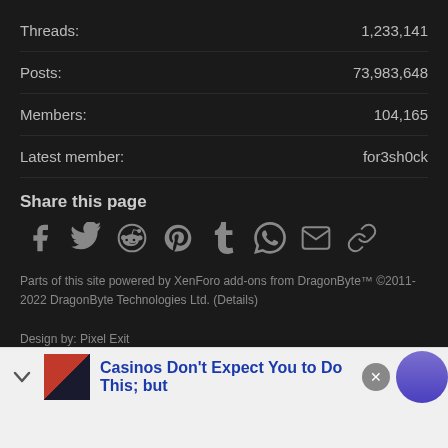Threads: 1,233,141
Posts: 73,983,648
Members: 104,165
Latest member: for3sh0ck
Share this page
[Figure (infographic): Social share icons: Facebook, Twitter, Reddit, Pinterest, Tumblr, WhatsApp, Email, Link]
Parts of this site powered by XenForo add-ons from DragonByte™ ©2011-2022 DragonByte Technologies Ltd. (Details)
Design by: Pixel Exit
| Add-ons by ThemeHouse | Media embeds via s9e/MediaSites
[Figure (infographic): Advertisement banner: Casinos Don't Expect You to Do This; but]